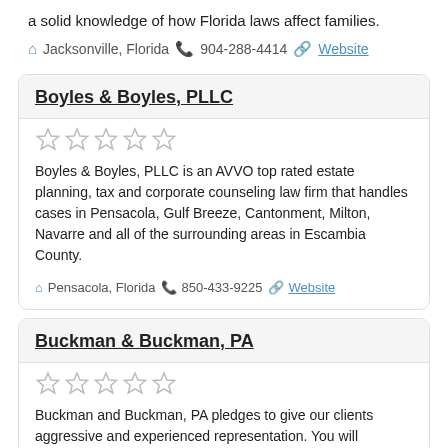a solid knowledge of how Florida laws affect families.
Jacksonville, Florida  904-288-4414  Website
Boyles & Boyles, PLLC
[Figure (other): 5 empty star rating icons]
Boyles & Boyles, PLLC is an AVVO top rated estate planning, tax and corporate counseling law firm that handles cases in Pensacola, Gulf Breeze, Cantonment, Milton, Navarre and all of the surrounding areas in Escambia County.
Pensacola, Florida  850-433-9225  Website
Buckman & Buckman, PA
[Figure (other): 5 empty star rating icons]
Buckman and Buckman, PA pledges to give our clients aggressive and experienced representation. You will